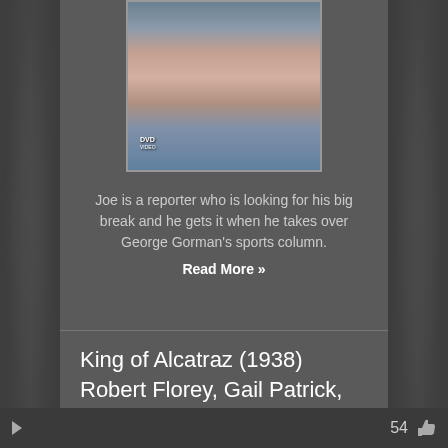[Figure (photo): Movie DVD cover or still showing three people: a man in a tuxedo on the left, a woman in the center wearing a headscarf and pearl necklace, and a man on the right. DVD logo visible at bottom left.]
Joe is a reporter who is looking for his big break and he gets it when he takes over George Gorman's sports column.
Read More »
King of Alcatraz (1938) Robert Florey, Gail Patrick, Lloyd Nolan, Harry Carey
54